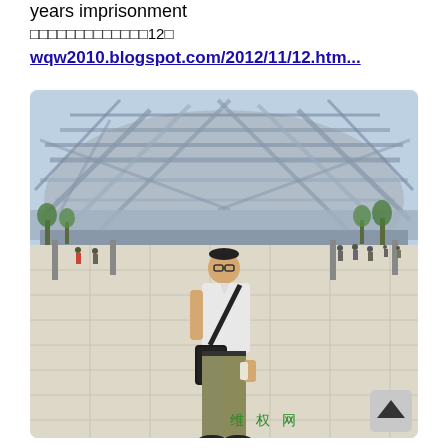years imprisonment
□□□□□□□□□□□□□12□
wqw2010.blogspot.com/2012/11/12.htm...
[Figure (photo): Man standing in front of the Beijing National Stadium (Bird's Nest), wearing a white shirt and olive trousers with a black shoulder bag. Green text watermark '维权网' in lower right corner. A scroll-to-top button appears in bottom right.]